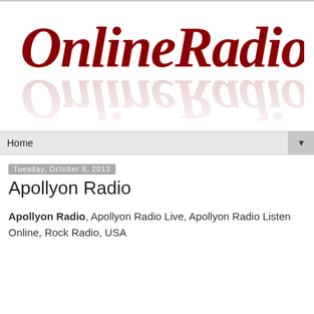[Figure (logo): OnlineRadio5 logo in dark red italic script font with a mirror reflection below it fading out]
Home ▼
Tuesday, October 8, 2013
Apollyon Radio
Apollyon Radio, Apollyon Radio Live, Apollyon Radio Listen Online, Rock Radio, USA